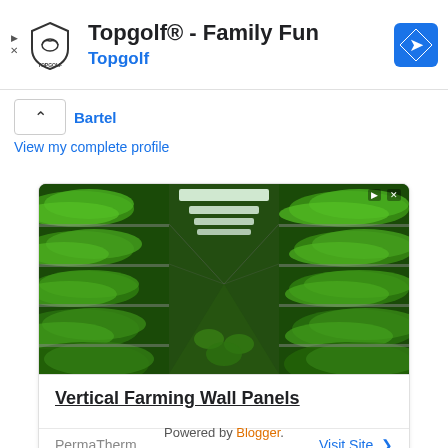[Figure (screenshot): Topgolf advertisement banner with logo, title 'Topgolf® - Family Fun', subtitle 'Topgolf' in blue, and a blue diamond navigation icon on the right]
Bartel
View my complete profile
[Figure (screenshot): Advertisement for Vertical Farming Wall Panels by PermaTherm showing indoor vertical farm with lush green plants growing on shelves under artificial lighting. Includes 'Visit Site >' link.]
Powered by Blogger.